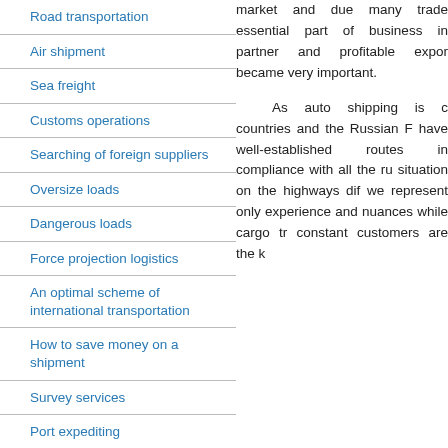Road transportation
Air shipment
Sea freight
Customs operations
Searching of foreign suppliers
Oversize loads
Dangerous loads
Force projection logistics
An optimal scheme of international transportation
How to save money on a shipment
Survey services
Port expediting
Uzbekistan and Kazakhstan
Warehousing services
Intermodal services
market and due many trade essential part of business in partner and profitable expor became very important.
As auto shipping is c countries and the Russian F have well-established routes in compliance with all the ru situation on the highways dif we represent only experience and nuances while cargo tr constant customers are the k